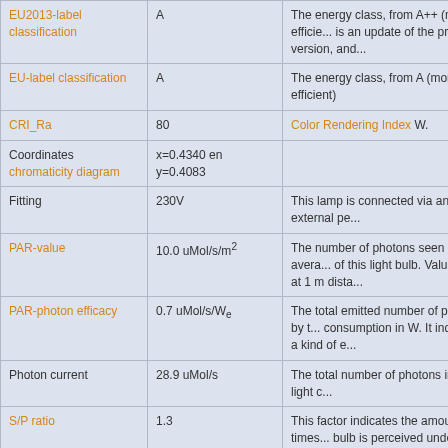| Property | Value | Description |
| --- | --- | --- |
| EU2013-label classification | A | The energy class, from A++ (more efficie... is an update of the previous version, and... |
| EU-label classification | A | The energy class, from A (more efficient) |
| CRI_Ra | 80 | Color Rendering Index W. |
| Coordinates chromaticity diagram | x=0.4340 en y=0.4083 |  |
| Fitting | 230V | This lamp is connected via an external pe... |
| PAR-value | 10.0 uMol/s/m² | The number of photons seen by an avera... of this light bulb. Value valid at 1 m dista... |
| PAR-photon efficacy | 0.7 uMol/s/We | The total emitted number of photons by t... consumption in W. It indicates a kind of e... |
| Photon current | 28.9 uMol/s | The total number of photons in the light c... |
| S/P ratio | 1.3 | This factor indicates the amount of times... bulb is perceived under scotopic circums... level). |
| D x H external dimensions | 190 mm x 80 mm | External dimensions of the lamp. |